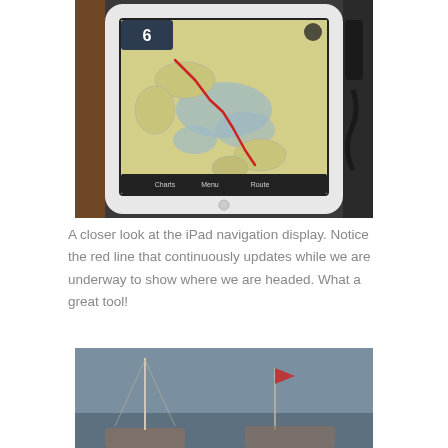[Figure (photo): An iPad mounted on a boat navigation station displaying a nautical chart navigation app with a yellow/green map. A red route line is visible on the chart. The iPad has a white case and is surrounded by wooden boat interior elements, cables, and other navigation equipment.]
A closer look at the iPad navigation display. Notice the red line that continuously updates while we are underway to show where we are headed. What a great tool!
[Figure (photo): A partial photo of what appears to be a boat or marina scene with masts visible against a grey-blue sky and water.]